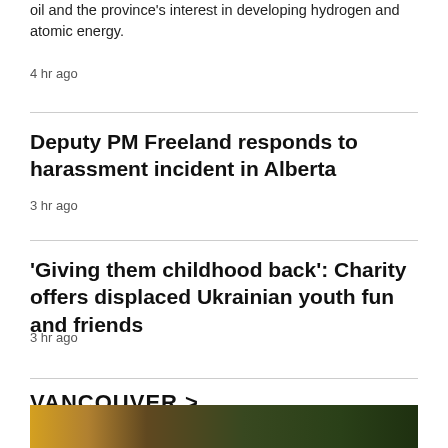oil and the province's interest in developing hydrogen and atomic energy.
4 hr ago
Deputy PM Freeland responds to harassment incident in Alberta
3 hr ago
'Giving them childhood back': Charity offers displaced Ukrainian youth fun and friends
3 hr ago
VANCOUVER >
[Figure (photo): Night scene of a street with vehicles and green structure in background]